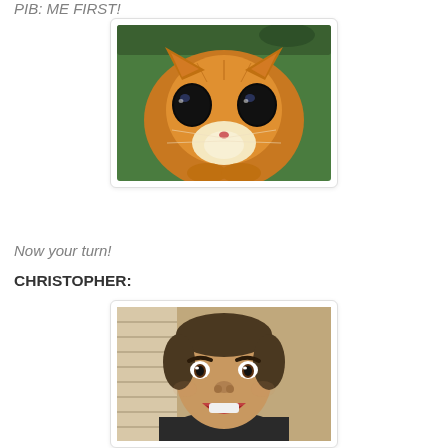PIB: ME FIRST!
[Figure (photo): Animated orange cat (Puss in Boots from Shrek) with large pleading eyes looking up at camera, green background]
Now your turn!
CHRISTOPHER:
[Figure (photo): Man with wide eyes and open mouth expression (Nicolas Cage meme), wearing a dark jacket, surprised/excited look]